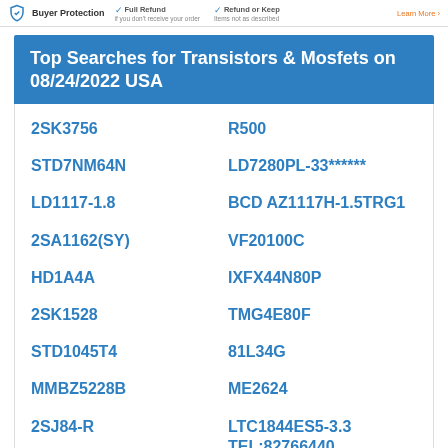Buyer Protection | Full Refund if you don't receive your order | Refund or Keep Items not as described | Learn More
Top Searches for Transistors & Mosfets on 08/24/2022 USA
2SK3756
R500
STD7NM64N
LD7280PL-33******
LD1117-1.8
BCD AZ1117H-1.5TRG1
2SA1162(SY)
VF20100C
HD1A4A
IXFX44N80P
2SK1528
TMG4E80F
STD1045T4
81L34G
MMBZ5228B
ME2624
2SJ84-R
LTC1844ES5-3.3 TEL:82766440